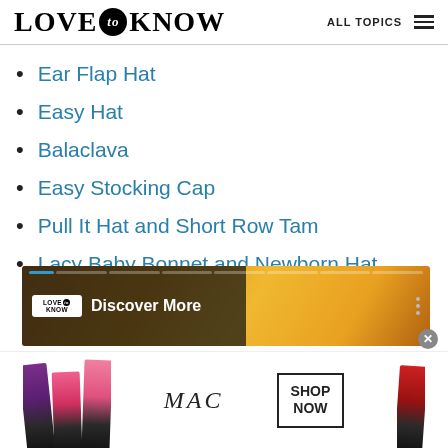LOVE to KNOW | ALL TOPICS
Ear Flap Hat
Easy Hat
Balaclava
Easy Stocking Cap
Pull It Hat and Short Row Tam
Lacy Baby Bonnet and Newborn Hat
[Figure (screenshot): LoveToKnow video promo banner showing 'Discover More' with logo, over an orange juice/drink background image with progress bar at top and vertical dots menu on right]
[Figure (photo): MAC cosmetics advertisement showing colorful lipsticks, MAC logo text, and a 'SHOP NOW' box]